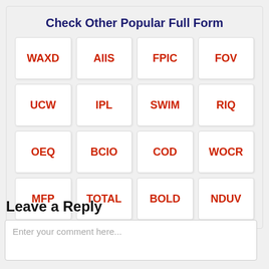Check Other Popular Full Form
| WAXD | AIIS | FPIC | FOV |
| UCW | IPL | SWIM | RIQ |
| OEQ | BCIO | COD | WOCR |
| MFP | TOTAL | BOLD | NDUV |
Leave a Reply
Enter your comment here...